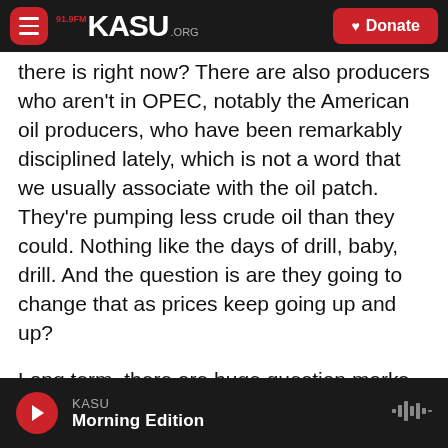KASU 91.9FM .ORG | Donate
there is right now? There are also producers who aren't in OPEC, notably the American oil producers, who have been remarkably disciplined lately, which is not a word that we usually associate with the oil patch. They're pumping less crude oil than they could. Nothing like the days of drill, baby, drill. And the question is are they going to change that as prices keep going up and up?
Long term, there are huge question marks. Here's where there are really divergent views about what the future of oil even looks like. OPEC thinks that oil and gas demand is going to grow for decades.
KASU — Morning Edition